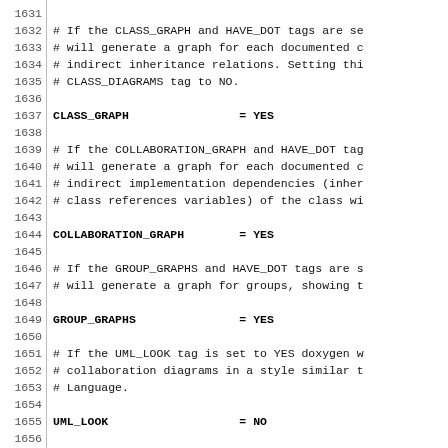Code listing lines 1631-1660, Doxygen configuration file comments and settings: CLASS_GRAPH = YES, COLLABORATION_GRAPH = YES, GROUP_GRAPHS = YES, UML_LOOK = NO